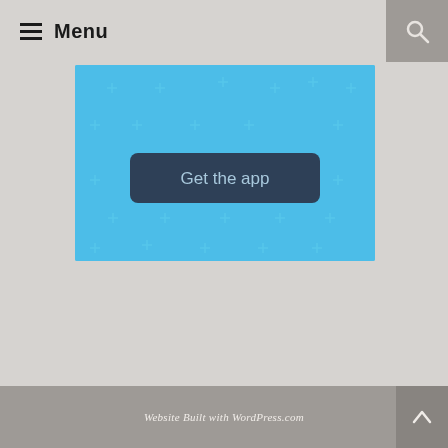≡ Menu
[Figure (screenshot): Blue banner with sparkle/plus decorations and a dark blue 'Get the app' button centered on it]
Website Built with WordPress.com